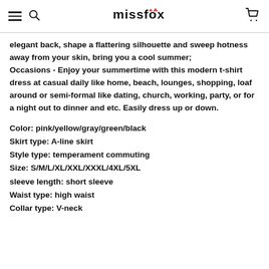missfox
elegant back, shape a flattering silhouette and sweep hotness away from your skin, bring you a cool summer; Occasions - Enjoy your summertime with this modern t-shirt dress at casual daily like home, beach, lounges, shopping, loaf around or semi-formal like dating, church, working, party, or for a night out to dinner and etc. Easily dress up or down.
Color: pink/yellow/gray/green/black
Skirt type: A-line skirt
Style type: temperament commuting
Size: S/M/L/XL/XXL/XXXL/4XL/5XL
sleeve length: short sleeve
Waist type: high waist
Collar type: V-neck